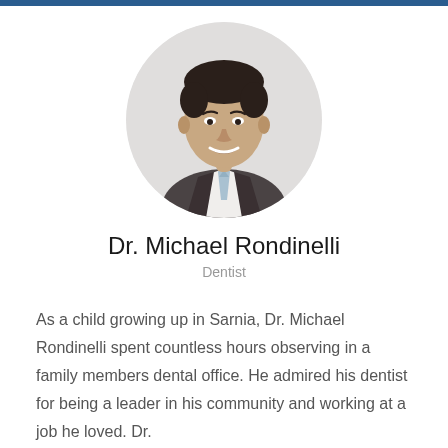[Figure (photo): Circular headshot of Dr. Michael Rondinelli, a man in a dark suit jacket with a light blue patterned tie, smiling, against a white background]
Dr. Michael Rondinelli
Dentist
As a child growing up in Sarnia, Dr. Michael Rondinelli spent countless hours observing in a family members dental office. He admired his dentist for being a leader in his community and working at a job he loved. Dr.